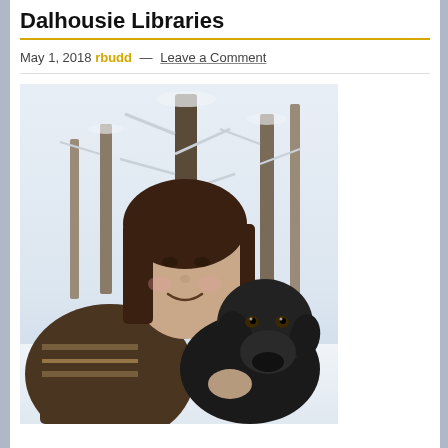Dalhousie Libraries
May 1, 2018 rbudd — Leave a Comment
[Figure (photo): A woman with dark hair wearing a patterned brown sweater smiling and posing with a black Labrador dog outdoors in a snowy winter forest setting.]